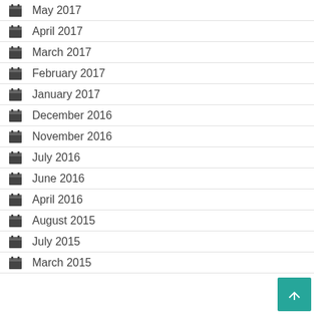May 2017
April 2017
March 2017
February 2017
January 2017
December 2016
November 2016
July 2016
June 2016
April 2016
August 2015
July 2015
March 2015